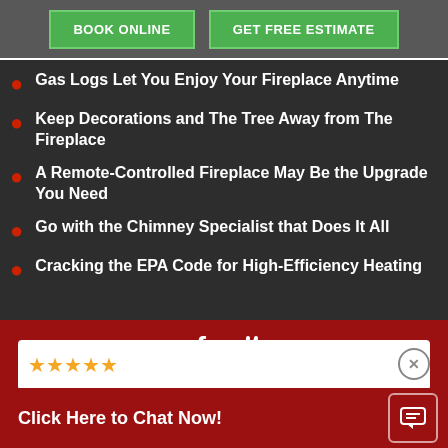BOOK ONLINE | GET FREE ESTIMATE
Gas Logs Let You Enjoy Your Fireplace Anytime
Keep Decorations and The Tree Away from The Fireplace
A Remote-Controlled Fireplace May Be the Upgrade You Need
Go with the Chimney Specialist that Does It All
Cracking the EPA Code for High-Efficiency Heating
Click Here to Chat Now!